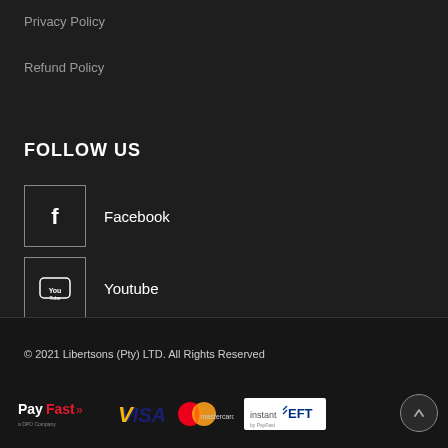Privacy Policy
Refund Policy
FOLLOW US
Facebook
Youtube
© 2021 Libertsons (Pty) LTD. All Rights Reserved
[Figure (logo): Payment method logos: PayFast (a DPO company), VISA, Mastercard, instantEFT by PayFast]